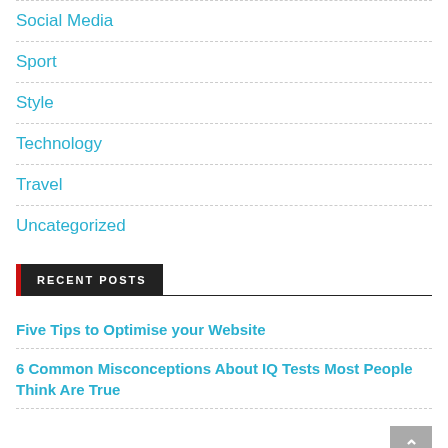Social Media
Sport
Style
Technology
Travel
Uncategorized
RECENT POSTS
Five Tips to Optimise your Website
6 Common Misconceptions About IQ Tests Most People Think Are True